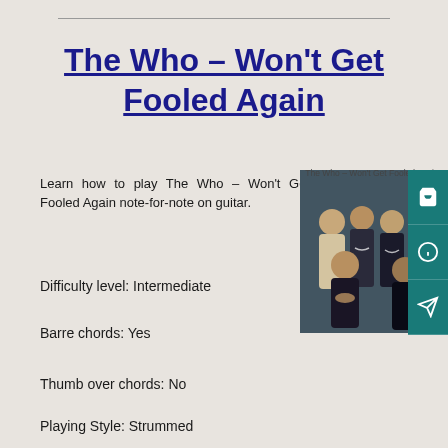The Who – Won't Get Fooled Again
Learn how to play The Who – Won't Get Fooled Again note-for-note on guitar.
Difficulty level: Intermediate
Barre chords: Yes
Thumb over chords: No
Playing Style: Strummed
[Figure (photo): Group photo of The Who band members, four men in dark clothing against a teal/grey background]
The Who – Won't Get Fooled Again